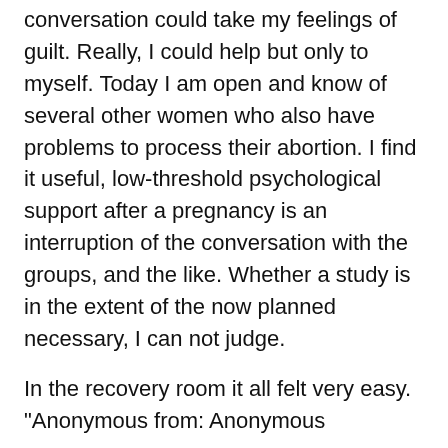conversation could take my feelings of guilt. Really, I could help but only to myself. Today I am open and know of several other women who also have problems to process their abortion. I find it useful, low-threshold psychological support after a pregnancy is an interruption of the conversation with the groups, and the like. Whether a study is in the extent of the now planned necessary, I can not judge.
In the recovery room it all felt very easy. "Anonymous from: Anonymous
I was 22 and just a year with my first boyfriend. We've had a difficult time behind us, because he suffered from depression that had worsened over the course of the year. After a few weeks he had spent in the psychiatric ward, had a short, good time. Then I was pregnant.
I knew immediately that I was not ready for a child. My friend